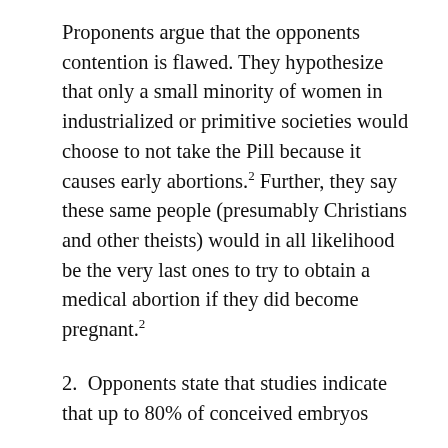Proponents argue that the opponents contention is flawed. They hypothesize that only a small minority of women in industrialized or primitive societies would choose to not take the Pill because it causes early abortions.² Further, they say these same people (presumably Christians and other theists) would in all likelihood be the very last ones to try to obtain a medical abortion if they did become pregnant.²
2.  Opponents state that studies indicate that up to 80% of conceived embryos